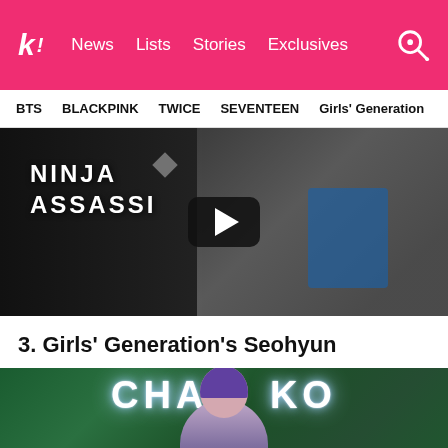k! News Lists Stories Exclusives
BTS  BLACKPINK  TWICE  SEVENTEEN  Girls' Generation
[Figure (photo): Video thumbnail showing man in grey suit in front of Ninja Assassin backdrop with play button overlay]
3. Girls' Generation's Seohyun
[Figure (photo): Photo of Seohyun at a CHAEL KO event with neon text backdrop and green floral wall]